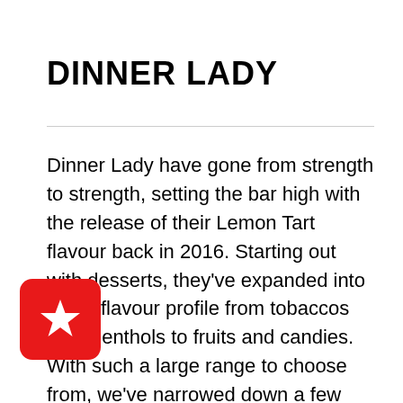DINNER LADY
Dinner Lady have gone from strength to strength, setting the bar high with the release of their Lemon Tart flavour back in 2016. Starting out with desserts, they've expanded into every flavour profile from tobaccos and menthols to fruits and candies. With such a large range to choose from, we've narrowed down a few options to check out (if you haven't already!).
[Figure (logo): Red rounded square badge with a white star in the center]